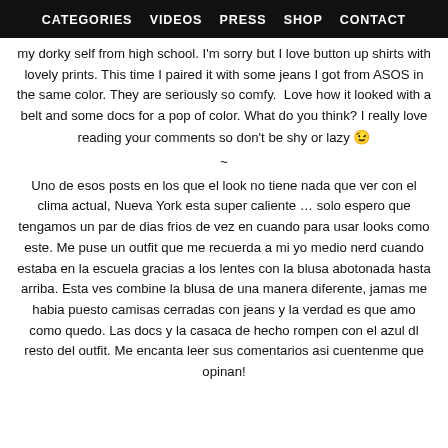CATEGORIES   VIDEOS   PRESS   SHOP   CONTACT
my dorky self from high school. I'm sorry but I love button up shirts with lovely prints. This time I paired it with some jeans I got from ASOS in the same color. They are seriously so comfy.  Love how it looked with a belt and some docs for a pop of color. What do you think? I really love reading your comments so don't be shy or lazy 😉
~
Uno de esos posts en los que el look no tiene nada que ver con el clima actual, Nueva York esta super caliente … solo espero que tengamos un par de dias frios de vez en cuando para usar looks como este. Me puse un outfit que me recuerda a mi yo medio nerd cuando estaba en la escuela gracias a los lentes con la blusa abotonada hasta arriba. Esta ves combine la blusa de una manera diferente, jamas me habia puesto camisas cerradas con jeans y la verdad es que amo como quedo. Las docs y la casaca de hecho rompen con el azul dl resto del outfit. Me encanta leer sus comentarios asi cuentenme que opinan!